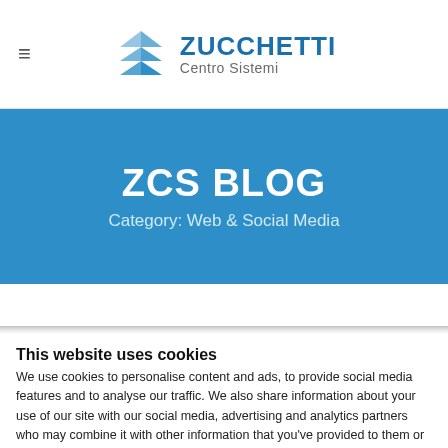Zucchetti Centro Sistemi
ZCS BLOG
Category: Web & Social Media
This website uses cookies
We use cookies to personalise content and ads, to provide social media features and to analyse our traffic. We also share information about your use of our site with our social media, advertising and analytics partners who may combine it with other information that you've provided to them or that they've collected from your use of their services.
Allow selection | Allow all cookies
Necessary  Preferences  Statistics  Show details